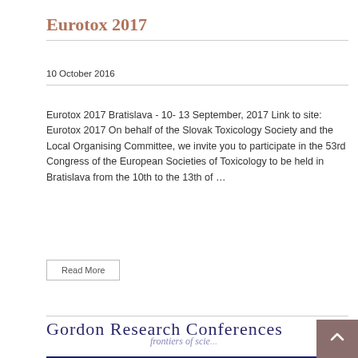Eurotox 2017
10 October 2016
Eurotox 2017 Bratislava - 10- 13 September, 2017 Link to site: Eurotox 2017 On behalf of the Slovak Toxicology Society and the Local Organising Committee, we invite you to participate in the 53rd Congress of the European Societies of Toxicology to be held in Bratislava from the 10th to the 13th of …
Read More
[Figure (screenshot): Screenshot of Gordon Research Conferences website showing Mycotoxins & Phycotoxins meeting page. Header shows 'Gordon Research Conferences / frontiers of science' logo, dark navy navigation bar with 'Meeting' tab, sidebar with navigation links, and main content showing Mycotoxins & Phycotoxins Gordon Research Conference with description 'Understanding the Exposure and Global Health Risks Associated with Naturally Occurring Environmental Biotoxins in a Rapidly Changing World'. Right sidebar shows Contact Chair and Registration links. Brown scroll-to-top button in bottom right.]